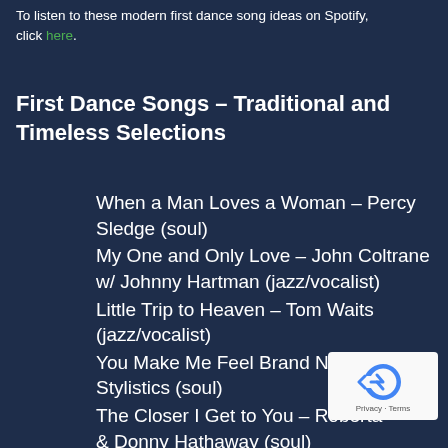To listen to these modern first dance song ideas on Spotify, click here.
First Dance Songs – Traditional and Timeless Selections
When a Man Loves a Woman – Percy Sledge (soul)
My One and Only Love – John Coltrane w/ Johnny Hartman (jazz/vocalist)
Little Trip to Heaven – Tom Waits (jazz/vocalist)
You Make Me Feel Brand New – The Stylistics (soul)
The Closer I Get to You – Roberta & Donny Hathaway (soul)